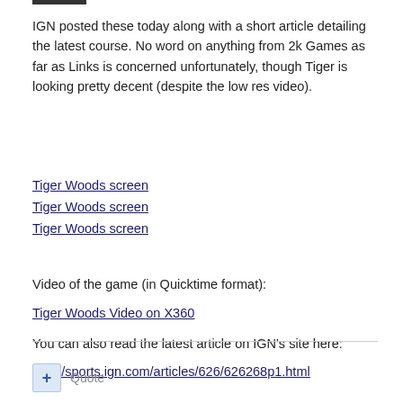IGN posted these today along with a short article detailing the latest course. No word on anything from 2k Games as far as Links is concerned unfortunately, though Tiger is looking pretty decent (despite the low res video).
Tiger Woods screen
Tiger Woods screen
Tiger Woods screen
Video of the game (in Quicktime format):
Tiger Woods Video on X360
You can also read the latest article on IGN's site here:
http://sports.ign.com/articles/626/626268p1.html
+ Quote